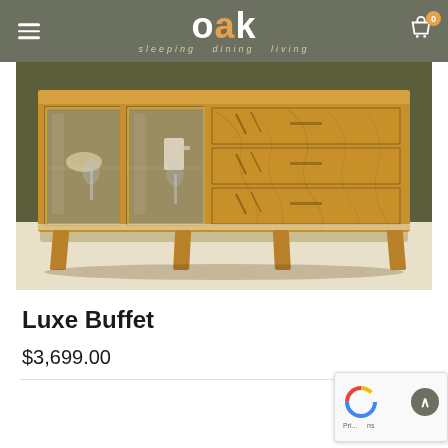Oak sleeping dining living
[Figure (photo): Photo of a Scandinavian-style oak wood buffet sideboard with glass sliding doors on the left two-thirds and three oak drawers with natural wood grain on the right third, standing on angled wooden legs on a light floor with a dark background.]
Luxe Buffet
$3,699.00